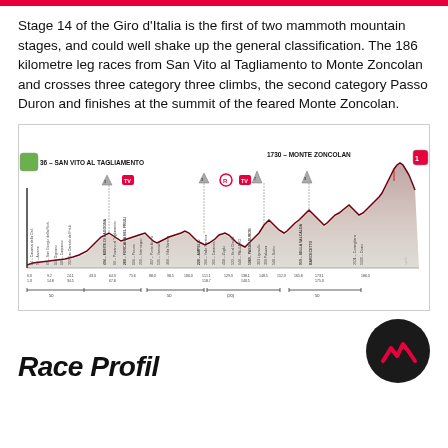Stage 14 of the Giro d'Italia is the first of two mammoth mountain stages, and could well shake up the general classification. The 186 kilometre leg races from San Vito al Tagliamento to Monte Zoncolan and crosses three category three climbs, the second category Passo Duron and finishes at the summit of the feared Monte Zoncolan.
[Figure (continuous-plot): Elevation profile of Giro d'Italia Stage 14 from San Vito al Tagliamento (36m) to Monte Zoncolan (1730m), 186km. Shows climbs including Monte di Ragogna, Forcania nel Friuli, Passo Duron, Sella Valcalda, and Barcecetto. Red/grey shaded area chart with mountain symbols, TV markers, KOM markers, and distance/elevation labels along the route.]
[Figure (logo): Black circular logo with red zigzag/mountain shape inside]